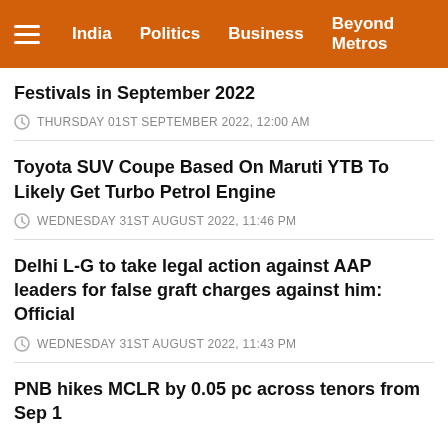India | Politics | Business | Beyond Metros
Festivals in September 2022
THURSDAY 01ST SEPTEMBER 2022, 12:00 AM
Toyota SUV Coupe Based On Maruti YTB To Likely Get Turbo Petrol Engine
WEDNESDAY 31ST AUGUST 2022, 11:46 PM
Delhi L-G to take legal action against AAP leaders for false graft charges against him: Official
WEDNESDAY 31ST AUGUST 2022, 11:43 PM
PNB hikes MCLR by 0.05 pc across tenors from Sep 1